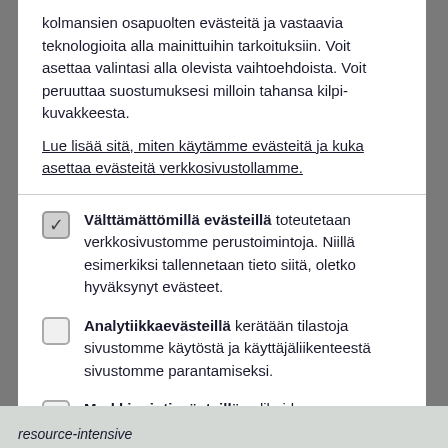kolmansien osapuolten evästeitä ja vastaavia teknologioita alla mainittuihin tarkoituksiin. Voit asettaa valintasi alla olevista vaihtoehdoista. Voit peruuttaa suostumuksesi milloin tahansa kilpi-kuvakkeesta.
Lue lisää sitä, miten käytämme evästeitä ja kuka asettaa evästeitä verkkosivustollamme.
Välttämättömillä evästeillä toteutetaan verkkosivustomme perustoimintoja. Niillä esimerkiksi tallennetaan tieto siitä, oletko hyväksynyt evästeet.
Analytiikkaevästeillä kerätään tilastoja sivustomme käytöstä ja käyttäjäliikenteestä sivustomme parantamiseksi.
Markkinointievästeillä valikoidaan verkkosivustollemme ja muille alustoillemme sinua kiinnostavaa sosiaalisen median sisältöä ja mainoksia.
Hyväksy välttämättömät
Hyväksy kaikki
resource-intensive